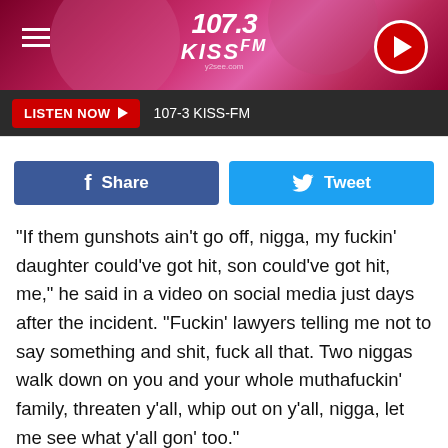[Figure (screenshot): 107.3 KISS-FM radio station header banner with pink/magenta gradient background, hamburger menu icon on left, 107.3 KISS FM logo in center, red play button on right]
[Figure (screenshot): Dark gray listen bar with red LISTEN NOW button with play arrow and 107-3 KISS-FM text]
[Figure (screenshot): Social share buttons row: blue Facebook Share button and cyan Twitter Tweet button]
"If them gunshots ain't go off, nigga, my fuckin' daughter could've got hit, son could've got hit, me," he said in a video on social media just days after the incident. "Fuckin' lawyers telling me not to say something and shit, fuck all that. Two niggas walk down on you and your whole muthafuckin' family, threaten y'all, whip out on y'all, nigga, let me see what y'all gon' too."
Craig's family, on the other hand, has a very different perception of their son's death.
"We...